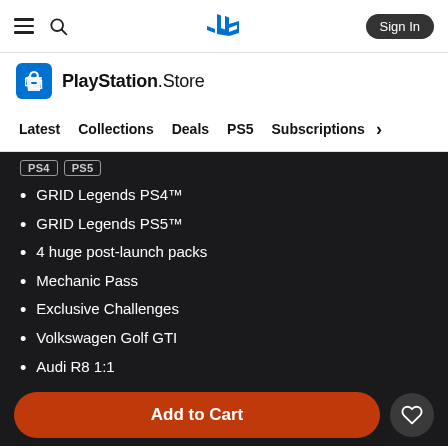PlayStation Store navigation bar with hamburger menu, search icon, PlayStation logo, and Sign In button
[Figure (logo): PlayStation Store logo with shopping bag icon and wordmark]
Latest | Collections | Deals | PS5 | Subscriptions >
[Figure (other): PS4 and PS5 platform tags]
GRID Legends PS4™
GRID Legends PS5™
4 huge post-launch packs
Mechanic Pass
Exclusive Challenges
Volkswagen Golf GTI
Audi R8 1:1
banners, liveries and logos
$79.99
Add to Cart